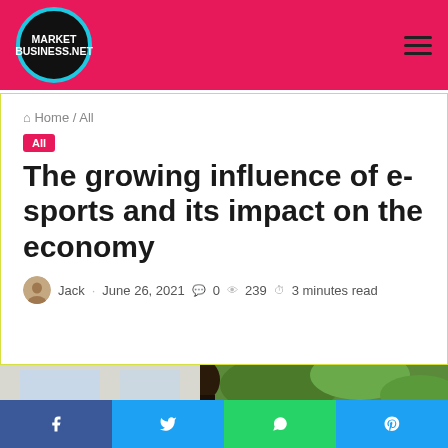MarketBusiness.net
Home / All
All
The growing influence of e-sports and its impact on the economy
Jack · June 26, 2021 · 0 · 239 · 3 minutes read
[Figure (photo): Hero image showing a person outdoors near green foliage]
[Figure (infographic): Social sharing bar with Facebook, Twitter, WhatsApp, and Pinterest buttons]